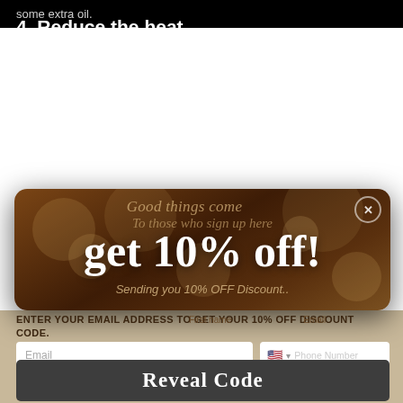some extra oil.
4. Reduce the heat
Hair is already exposed to a significant amount of heat on a daily basis in the summer, and it will probably air-dry quickly
anyway you can to already frizz sti
5. Con
Rinse w natural treatme your ha
[Figure (screenshot): A popup overlay modal with dark brown bokeh background. Text reads: 'Good things come', 'To those who sign up here', 'get 10% off!', 'Sending you 10% OFF Discount..'. Below the popup is a tan form area with text: 'ENTER YOUR EMAIL ADDRESS TO GET YOUR 10% OFF DISCOUNT CODE.' with an Email input field and Phone Number field, and a dark 'Reveal Code' button.]